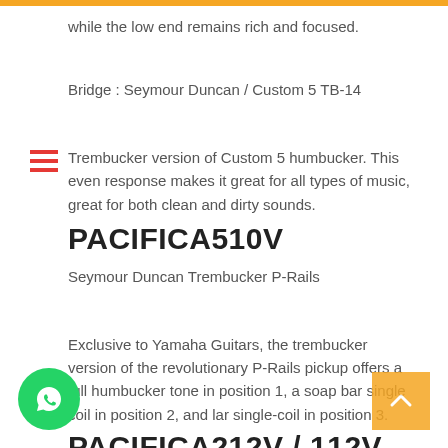while the low end remains rich and focused.
Bridge : Seymour Duncan / Custom 5 TB-14
Trembucker version of Custom 5 humbucker. This even response makes it great for all types of music, great for both clean and dirty sounds.
PACIFICA510V
Seymour Duncan Trembucker P-Rails
Exclusive to Yamaha Guitars, the trembucker version of the revolutionary P-Rails pickup offers a full humbucker tone in position 1, a soap bar single coil in position 2, and lar single-coil in position 3.
PACIFICA212V / 112V